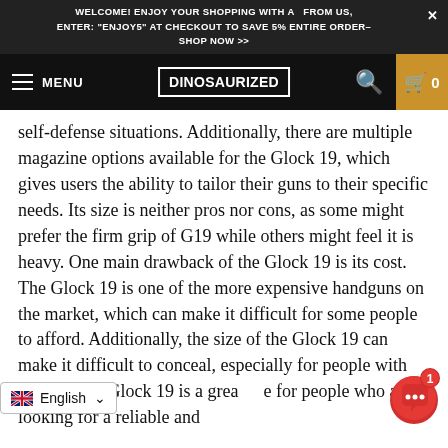WELCOME! ENJOY YOUR SHOPPING WITH A  FROM US, ENTER: "ENJOY5" AT CHECKOUT TO SAVE 5% ENTIRE ORDER- × SHOP NOW >>
[Figure (screenshot): Navigation bar with hamburger menu, DINOSAURIZED logo, search icon, and cart button showing 0 items]
self-defense situations. Additionally, there are multiple magazine options available for the Glock 19, which gives users the ability to tailor their guns to their specific needs. Its size is neither pros nor cons, as some might prefer the firm grip of G19 while others might feel it is heavy. One main drawback of the Glock 19 is its cost. The Glock 19 is one of the more expensive handguns on the market, which can make it difficult for some people to afford. Additionally, the size of the Glock 19 can make it difficult to conceal, especially for people with  Overall, the Glock 19 is a great  for people who are looking for a reliable and